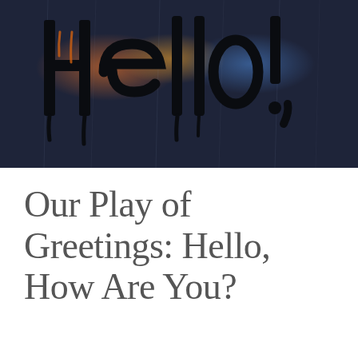[Figure (photo): Photo of 'Hello!' written in large dark letters on a rain-wet glass window with blurry city lights visible in the background at night]
Our Play of Greetings: Hello, How Are You?
JANUARY 30, 2019
NOMISLOVE
LEAVE A COMMENT